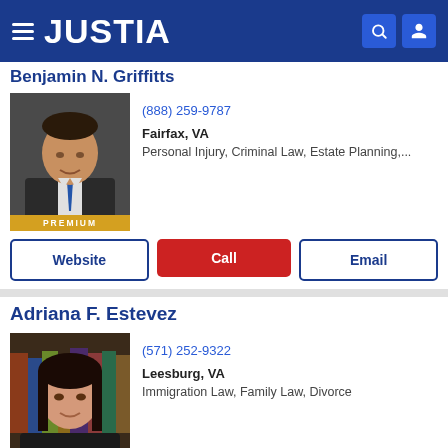JUSTIA
Benjamin N. Griffitts
(888) 259-9787
Fairfax, VA
Personal Injury, Criminal Law, Estate Planning,...
Website | Call | Email
Adriana F. Estevez
(571) 252-9322
Leesburg, VA
Immigration Law, Family Law, Divorce
Website | Call | Email